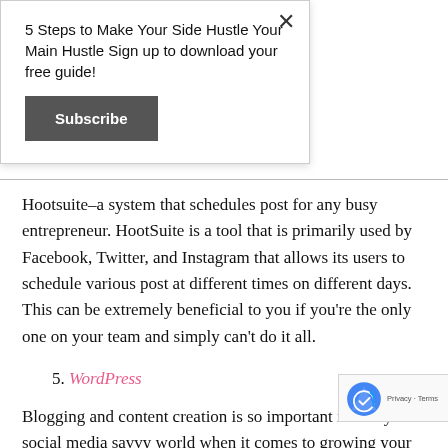5 Steps to Make Your Side Hustle Your Main Hustle Sign up to download your free guide!
Subscribe
Hootsuite–a system that schedules post for any busy entrepreneur. HootSuite is a tool that is primarily used by Facebook, Twitter, and Instagram that allows its users to schedule various post at different times on different days. This can be extremely beneficial to you if you're the only one on your team and simply can't do it all.
5. WordPress
Blogging and content creation is so important in today's social media savvy world when it comes to growing your small business. There are several website supporters...